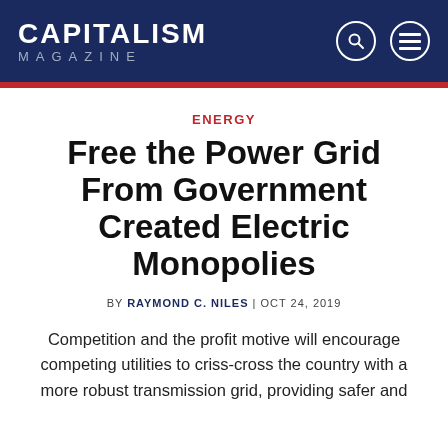CAPITALISM MAGAZINE
ENERGY
Free the Power Grid From Government Created Electric Monopolies
BY RAYMOND C. NILES | OCT 24, 2019
Competition and the profit motive will encourage competing utilities to criss-cross the country with a more robust transmission grid, providing safer and